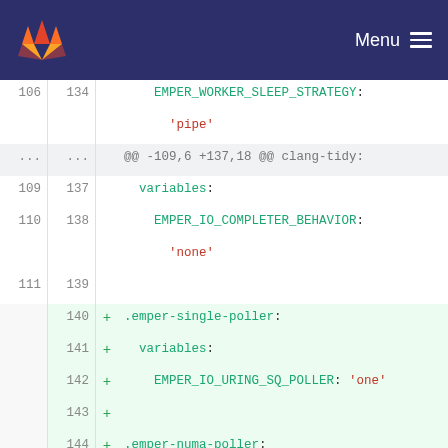GitLab Menu
[Figure (screenshot): Code diff view showing YAML configuration changes. Lines 106-112 on old side, lines 134-152 on new side. Added lines (green background) introduce .emper-single-poller, .emper-numa-poller, and .emper-each-poller sections with EMPER_IO_URING_SQ_POLLER variables set to 'one', 'numa', and 'each' respectively.]